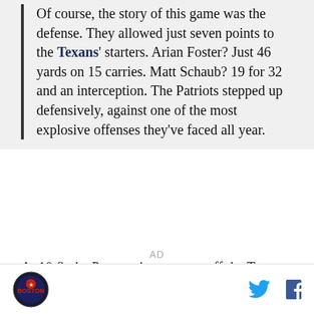Of course, the story of this game was the defense. They allowed just seven points to the Texans' starters. Arian Foster? Just 46 yards on 15 carries. Matt Schaub? 19 for 32 and an interception. The Patriots stepped up defensively, against one of the most explosive offenses they've faced all year.
At 10-3, the Pats are just a game off the Texans for home-field advantage in the playoffs.
AD
[logo] [twitter] [facebook]